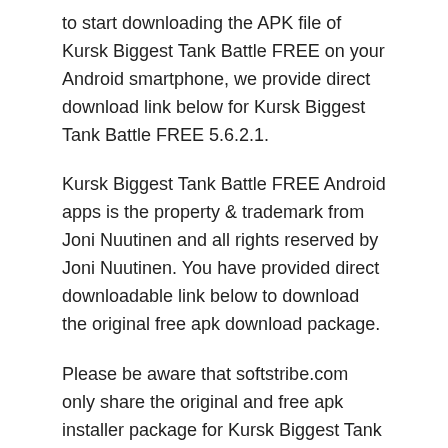to start downloading the APK file of Kursk Biggest Tank Battle FREE on your Android smartphone, we provide direct download link below for Kursk Biggest Tank Battle FREE 5.6.2.1.
Kursk Biggest Tank Battle FREE Android apps is the property & trademark from Joni Nuutinen and all rights reserved by Joni Nuutinen. You have provided direct downloadable link below to download the original free apk download package.
Please be aware that softstribe.com only share the original and free apk installer package for Kursk Biggest Tank Battle FREE 5.6.2.1 without any modifications or any alterations within the .apk file package for illegal activities.
If you wish to run Kursk Biggest Tank Battle FREE APK for PC, make sure you read the article.